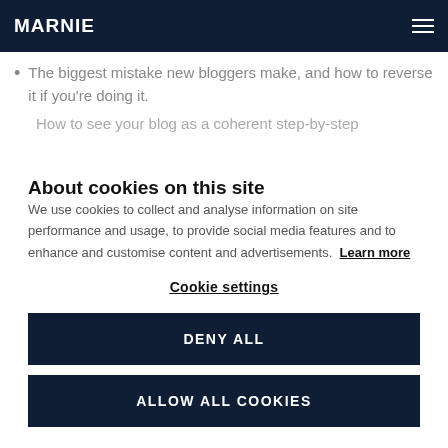MARNIE
The biggest mistake new bloggers make, and how to reverse it if you're doing it.
How to see your blog as a coherent step-by-step
About cookies on this site
We use cookies to collect and analyse information on site performance and usage, to provide social media features and to enhance and customise content and advertisements. Learn more
Cookie settings
DENY ALL
ALLOW ALL COOKIES